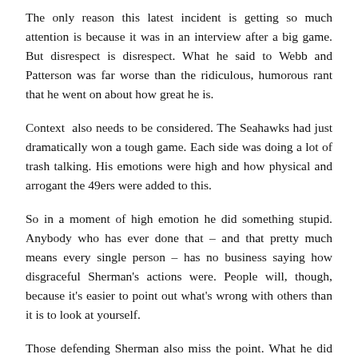The only reason this latest incident is getting so much attention is because it was in an interview after a big game. But disrespect is disrespect. What he said to Webb and Patterson was far worse than the ridiculous, humorous rant that he went on about how great he is.
Context also needs to be considered. The Seahawks had just dramatically won a tough game. Each side was doing a lot of trash talking. His emotions were high and how physical and arrogant the 49ers were added to this.
So in a moment of high emotion he did something stupid. Anybody who has ever done that – and that pretty much means every single person – has no business saying how disgraceful Sherman's actions were. People will, though, because it's easier to point out what's wrong with others than it is to look at yourself.
Those defending Sherman also miss the point. What he did still wasn't right. If he wasn't such an asshole in the first place, and if he was mature enough to keep his